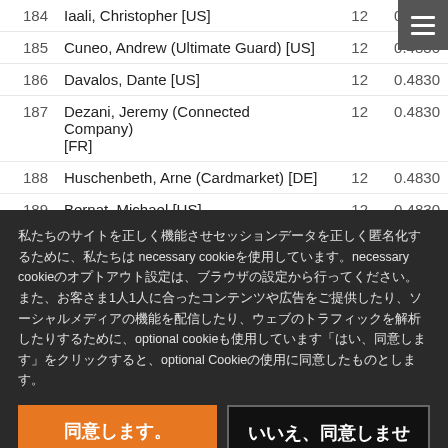| # | Name | Points | OMW% |
| --- | --- | --- | --- |
| 184 | Iaali, Christopher [US] | 12 | 0.4830 |
| 185 | Cuneo, Andrew (Ultimate Guard) [US] | 12 | 0.4830 |
| 186 | Davalos, Dante [US] | 12 | 0.4830 |
| 187 | Dezani, Jeremy (Connected Company) [FR] | 12 | 0.4830 |
| 188 | Huschenbeth, Arne (Cardmarket) [DE] | 12 | 0.4830 |
| 189 | Bernat, Michael [US] | 12 | 0.4830 |
| 190 | Rochet, Guillaume (Magic Genesis Crew)... |  |  |
私たちのサイトを正しく機能させセッションデータを正しく匿名化するために、私たちはnecessary cookieを使用しています。necessary cookieのオプトアウト設定は、ブラウザの設定から行ってください。また、お客さま1人1人に合ったコンテンツや広告をご提供したり、ソーシャルメディアの機能を配信したり、ウェブのトラフィックを解析したりするために、optional cookieも使用しています「はい、同意します」をクリックすると、optional Cookieの使用に同意したものとします。
同意します。
いいえ、同意しません。
（Cookieについて詳しく）